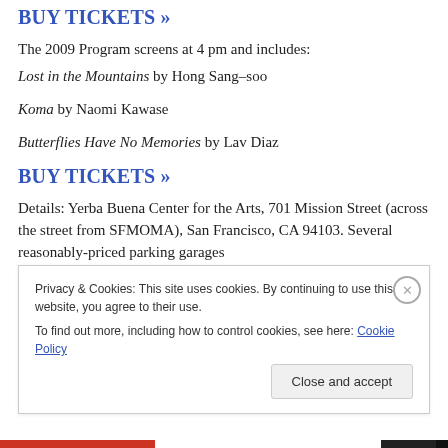BUY TICKETS »
The 2009 Program screens at 4 pm and includes:
Lost in the Mountains by Hong Sang–soo
Koma by Naomi Kawase
Butterflies Have No Memories by Lav Diaz
BUY TICKETS »
Details: Yerba Buena Center for the Arts, 701 Mission Street (across the street from SFMOMA), San Francisco, CA 94103. Several reasonably-priced parking garages
Privacy & Cookies: This site uses cookies. By continuing to use this website, you agree to their use.
To find out more, including how to control cookies, see here: Cookie Policy
Close and accept